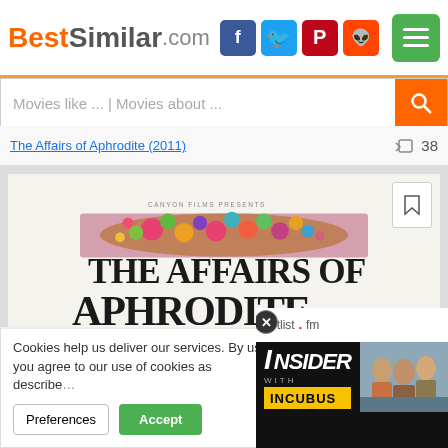BestSimilar.com
Movies like ... | Movies about ...
The Affairs of Aphrodite (2011) — 38 likes
[Figure (photo): Movie poster for The Affairs of Aphrodite showing decorative floral border and large title text. Text reads: CANYON FILMS PRESENTS / THE AFFAIRS OF APHRODITE / THE GREEKS ARE COMING, / THE GREEKS ARE COMING]
Cookies help us deliver our services. By using our services, you agree to our use of cookies as described in our Cookie Policy.
Preferences | Accept
[Figure (screenshot): setlist.fm Insider with Incubus video ad overlay with play button and photo of band members]